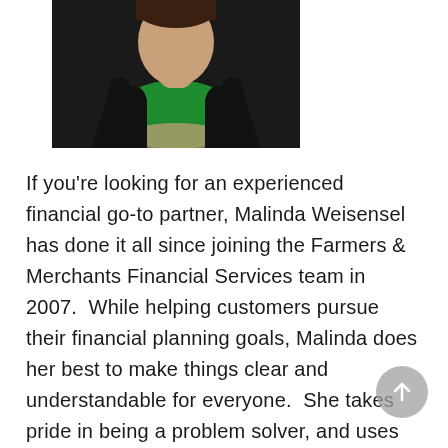[Figure (photo): Professional headshot of Malinda Weisensel, a woman wearing a black jacket and green shirt, with hands clasped, photographed against a dark background]
If you're looking for an experienced financial go-to partner, Malinda Weisensel has done it all since joining the Farmers & Merchants Financial Services team in 2007.  While helping customers pursue their financial planning goals, Malinda does her best to make things clear and understandable for everyone.  She takes pride in being a problem solver, and uses her diverse skill set to make sure she finds the solution that is right for each customer.